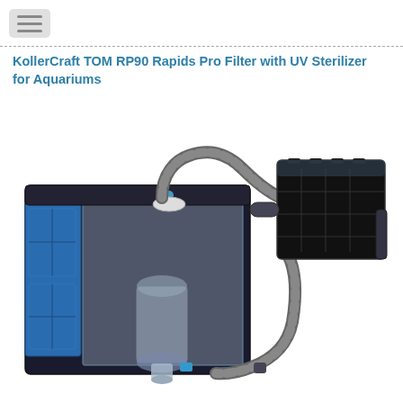KollerCraft TOM RP90 Rapids Pro Filter with UV Sterilizer for Aquariums
[Figure (photo): KollerCraft TOM RP90 Rapids Pro Filter with UV Sterilizer product photo showing a large blue and transparent aquarium canister filter connected via flexible corrugated hose to a black UV sterilizer unit on the right side.]